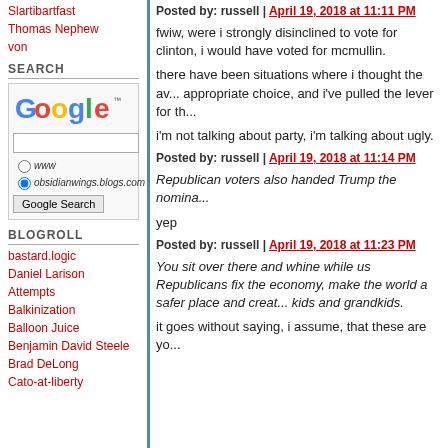Slartibartfast
Thomas Nephew
von
SEARCH
[Figure (logo): Google search widget with logo, text input, www and obsidianwings.blogs.com radio buttons, and Google Search button]
BLOGROLL
bastard.logic
Daniel Larison
Attempts
Balkinization
Balloon Juice
Benjamin David Steele
Brad DeLong
Cato-at-liberty
Posted by: russell | April 19, 2018 at 11:11 PM
fwiw, were i strongly disinclined to vote for clinton, i would have voted for mcmullin.
there have been situations where i thought the available choice, and i've pulled the lever for th...
i'm not talking about party, i'm talking about ugly.
Posted by: russell | April 19, 2018 at 11:14 PM
Republican voters also handed Trump the nomina...
yep
Posted by: russell | April 19, 2018 at 11:23 PM
You sit over there and whine while us Republicans fix the economy, make the world a safer place and create a better future for our kids and grandkids.
it goes without saying, i assume, that these are yo...